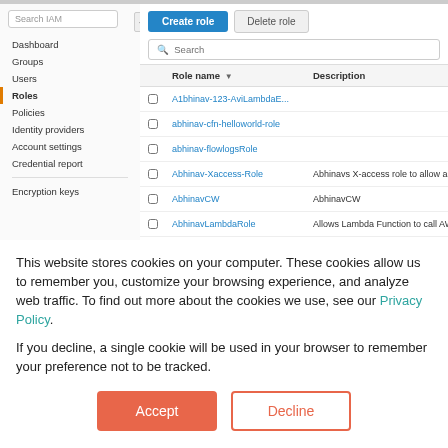[Figure (screenshot): AWS IAM console screenshot showing Roles list with navigation sidebar and table of role names including A1bhinav-123-AviLambdaE..., abhinav-cfn-helloworld-role, abhinav-flowlogsRole, Abhinav-Xaccess-Role, AbhinavCW, AbhinavLambdaRole, abishek-r53-role]
This website stores cookies on your computer. These cookies allow us to remember you, customize your browsing experience, and analyze web traffic. To find out more about the cookies we use, see our Privacy Policy.
If you decline, a single cookie will be used in your browser to remember your preference not to be tracked.